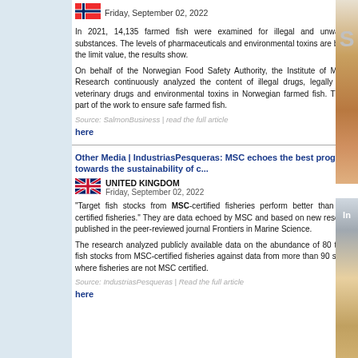[Figure (illustration): Norway flag icon]
Friday, September 02, 2022
In 2021, 14,135 farmed fish were examined for illegal and unwanted substances. The levels of pharmaceuticals and environmental toxins are below the limit value, the results show.
On behalf of the Norwegian Food Safety Authority, the Institute of Marine Research continuously analyzed the content of illegal drugs, legally used veterinary drugs and environmental toxins in Norwegian farmed fish. This is part of the work to ensure safe farmed fish.
Source: SalmonBusiness | read the full article here
Other Media | IndustriasPesqueras: MSC echoes the best progress towards the sustainability of c...
[Figure (illustration): UK flag icon]
UNITED KINGDOM
Friday, September 02, 2022
"Target fish stocks from MSC-certified fisheries perform better than non-certified fisheries." They are data echoed by MSC and based on new research published in the peer-reviewed journal Frontiers in Marine Science.
The research analyzed publicly available data on the abundance of 80 target fish stocks from MSC-certified fisheries against data from more than 90 stocks where fisheries are not MSC certified.
Source: IndustriasPesqueras | Read the full article here